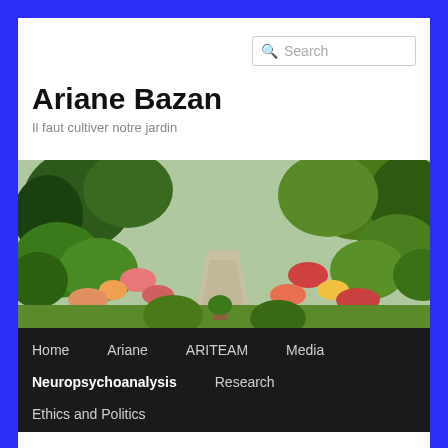Search
Ariane Bazan
Il faut cultiver notre jardin
[Figure (photo): Garden path photo showing a lush garden with colorful flowers on both sides of a stone/grass pathway, surrounded by green trees and shrubs.]
Home
Ariane
ARITEAM
Media
Neuropsychoanalysis
Research
Ethics and Politics